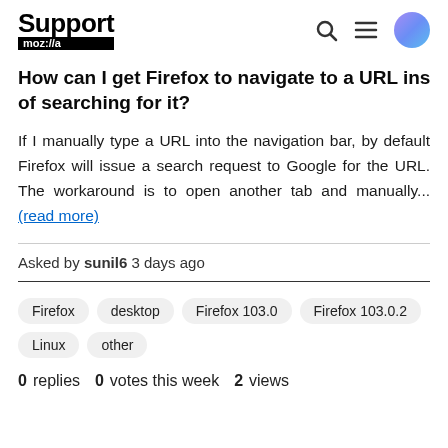Support mozilla//a
How can I get Firefox to navigate to a URL instead of searching for it?
If I manually type a URL into the navigation bar, by default Firefox will issue a search request to Google for the URL. The workaround is to open another tab and manually... (read more)
Asked by sunil6 3 days ago
Firefox  desktop  Firefox 103.0  Firefox 103.0.2  Linux  other
0 replies  0 votes this week  2 views